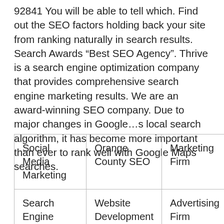92841 You will be able to tell which. Find out the SEO factors holding back your site from ranking naturally in search results. Search Awards “Best SEO Agency”. Thrive is a search engine optimization company that provides comprehensive search engine marketing results. We are an award-winning SEO company. Due to major changes in Google…s local search algorithm, it has become more important than ever to rank well with Google Maps searches.
| Social Media Marketing | Orange County SEO | Marketing Firm | Online Mark… |
| Search Engine Optimization | Website Development | Advertising Firm | Social Agenc… |